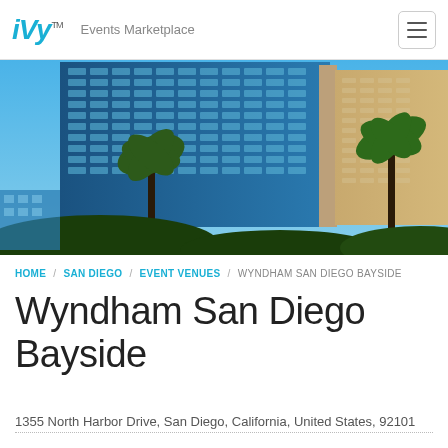iVvy™  Events Marketplace
[Figure (photo): Exterior photo of Wyndham San Diego Bayside hotel building — tall modern towers with glass and concrete facade, palm trees in foreground, blue sky background]
HOME / SAN DIEGO / EVENT VENUES / WYNDHAM SAN DIEGO BAYSIDE
Wyndham San Diego Bayside
1355 North Harbor Drive, San Diego, California, United States, 92101